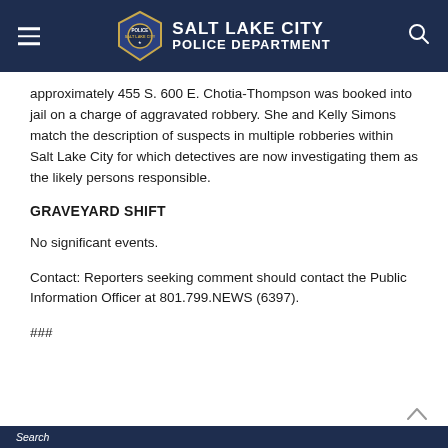SALT LAKE CITY POLICE DEPARTMENT
approximately 455 S. 600 E. Chotia-Thompson was booked into jail on a charge of aggravated robbery. She and Kelly Simons match the description of suspects in multiple robberies within Salt Lake City for which detectives are now investigating them as the likely persons responsible.
GRAVEYARD SHIFT
No significant events.
Contact: Reporters seeking comment should contact the Public Information Officer at 801.799.NEWS (6397).
###